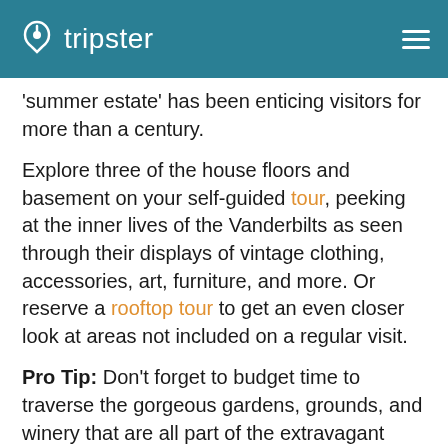tripster
'summer estate' has been enticing visitors for more than a century.
Explore three of the house floors and basement on your self-guided tour, peeking at the inner lives of the Vanderbilts as seen through their displays of vintage clothing, accessories, art, furniture, and more. Or reserve a rooftop tour to get an even closer look at areas not included on a regular visit.
Pro Tip: Don't forget to budget time to traverse the gorgeous gardens, grounds, and winery that are all part of the extravagant